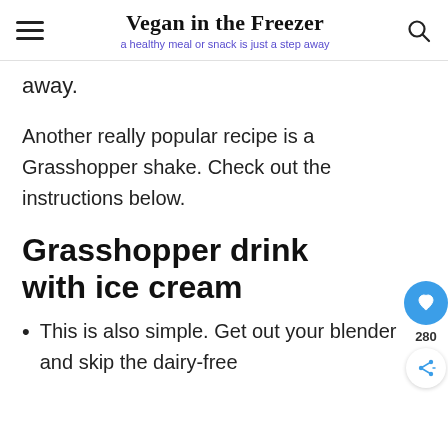Vegan in the Freezer — a healthy meal or snack is just a step away
away.
Another really popular recipe is a Grasshopper shake. Check out the instructions below.
Grasshopper drink with ice cream
This is also simple. Get out your blender and skip the dairy-free